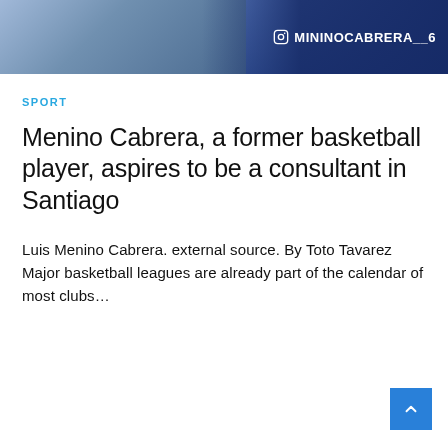[Figure (photo): Screenshot of a TV broadcast or social media post showing a man in a blue blazer with the Instagram handle @MININOCABRERA_6 overlaid on a dark blue background]
SPORT
Menino Cabrera, a former basketball player, aspires to be a consultant in Santiago
Luis Menino Cabrera. external source. By Toto Tavarez Major basketball leagues are already part of the calendar of most clubs...